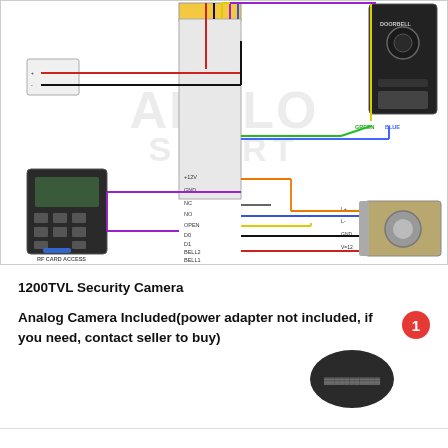[Figure (schematic): Wiring diagram showing connections between RF Card Access keypad, a central controller/terminal block, a Doorbell camera unit, and an Electric Lock. Colored wires (red, black, yellow, purple, blue, green, orange, brown) connect labeled terminals (+12V, GND, NC, NO, OPEN, D0, D1, BELL2, BELL1) on the controller to the doorbell (GREEN, BLUE terminals) and electric lock (L+, L-, GND, V=12). AnFlo Smart watermark in background.]
1200TVL Security Camera
Analog Camera Included(power adapter not included, if you need, contact seller to buy)
[Figure (photo): Dark oval/pill-shaped device (camera or intercom unit) with text/buttons on surface, shown with a red badge numbered 1 in top right corner.]
[Figure (photo): Partial view of a wall-mount bracket at the bottom of the page.]